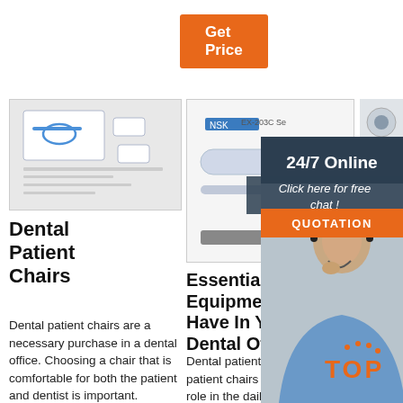Get Price
[Figure (photo): Dental equipment product sheet image showing cables and components]
[Figure (photo): NSK EX-203C dental handpiece product image]
[Figure (photo): Dental chair component images]
Dental Patient Chairs
Dental patient chairs are a necessary purchase in a dental office. Choosing a chair that is comfortable for both the patient and dentist is important.
Essential Equipment To Have In Your Dental Office
Dental patient chairs. Dental patient chairs play an essential role in the daily operations of any
PAR A DE CHA Flas
Terms in this set (20) Dental chair. is designed to position the patient comfortably while providing the
[Figure (photo): 24/7 Online customer service agent with headset]
24/7 Online
Click here for free chat !
QUOTATION
TOP